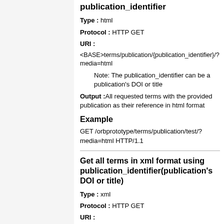publication_identifier
Type : html
Protocol : HTTP GET
URI :
<BASE>terms/publication/{publication_identifier}/?media=html
Note: The publication_identifier can be a publication's DOI or title
Output :All requested terms with the provided publication as their reference in html format
Example
GET /orbprototype/terms/publication/test/?media=html HTTP/1.1
Get all terms in xml format using publication_identifier(publication's DOI or title)
Type : xml
Protocol : HTTP GET
URI :